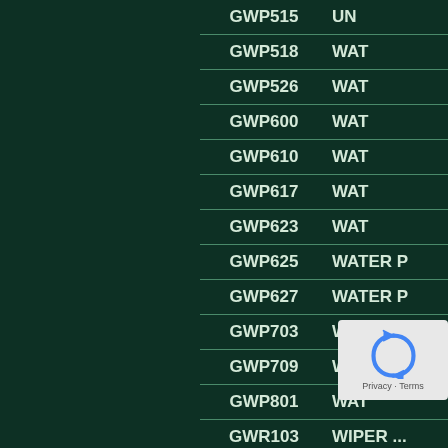| Code | Description |
| --- | --- |
| GWP515 | UN... |
| GWP518 | WAT... |
| GWP526 | WAT... |
| GWP600 | WAT... |
| GWP610 | WAT... |
| GWP617 | WAT... |
| GWP623 | WAT... |
| GWP625 | WATER P... |
| GWP627 | WATER P... |
| GWP703 | WAT... |
| GWP709 | WAT... |
| GWP801 | WAT... |
| GWR103 | WIPER ... |
| GWR107 | ... |
| GWR110 | WIPER ... |